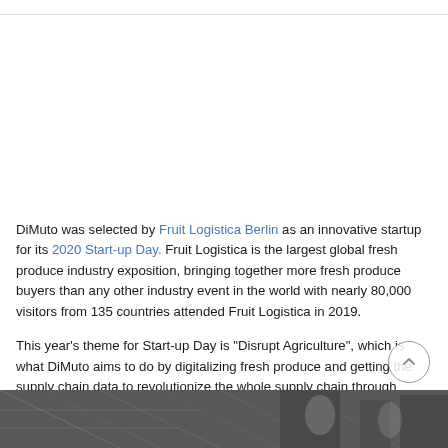DiMuto was selected by Fruit Logistica Berlin as an innovative startup for its 2020 Start-up Day. Fruit Logistica is the largest global fresh produce industry exposition, bringing together more fresh produce buyers than any other industry event in the world with nearly 80,000 visitors from 135 countries attended Fruit Logistica in 2019.
This year's theme for Start-up Day is "Disrupt Agriculture", which is what DiMuto aims to do by digitalizing fresh produce and getting the supply chain data to revolutionize the whole supply chain through traceability, trade financing and market access.
[Figure (photo): Bottom strip showing a partial photograph, dark tones, appears to be an indoor exhibition or industrial setting]